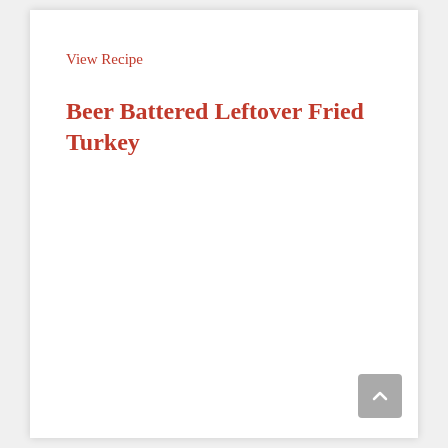View Recipe
Beer Battered Leftover Fried Turkey